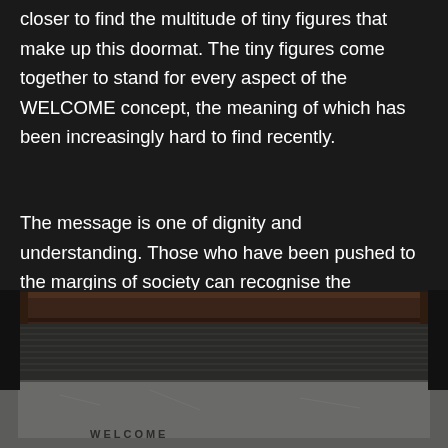closer to find the multitude of tiny figures that make up this doormat. The tiny figures come together to stand for every aspect of the WELCOME concept, the meaning of which has been increasingly hard to find recently.
The message is one of dignity and understanding. Those who have been pushed to the margins of society can recognise the importance of an open and heartfelt welcome more than anyone.
[Figure (photo): Close-up photograph of a dark wooden-framed doormat with the word WELCOME visible, placed on a stone or concrete surface. The mat appears to have a textured bristle surface.]